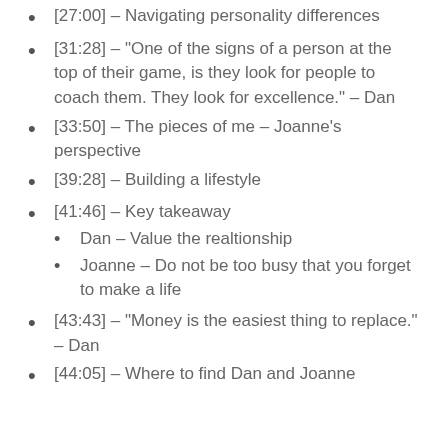[27:00] – Navigating personality differences
[31:28] – “One of the signs of a person at the top of their game, is they look for people to coach them. They look for excellence.” – Dan
[33:50] – The pieces of me – Joanne’s perspective
[39:28] – Building a lifestyle
[41:46] – Key takeaway
Dan – Value the realtionship
Joanne – Do not be too busy that you forget to make a life
[43:43] – “Money is the easiest thing to replace.” – Dan
[44:05] – Where to find Dan and Joanne